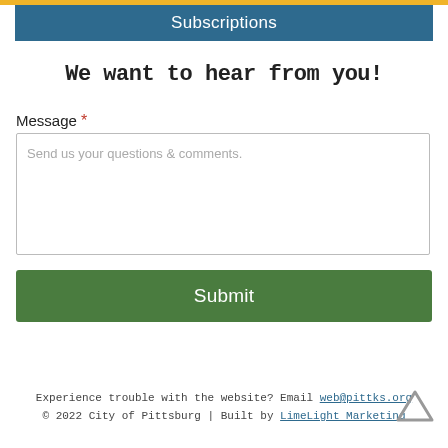Subscriptions
We want to hear from you!
Message *
Send us your questions & comments.
Submit
Experience trouble with the website? Email web@pittks.org
© 2022 City of Pittsburg | Built by LimeLight Marketing